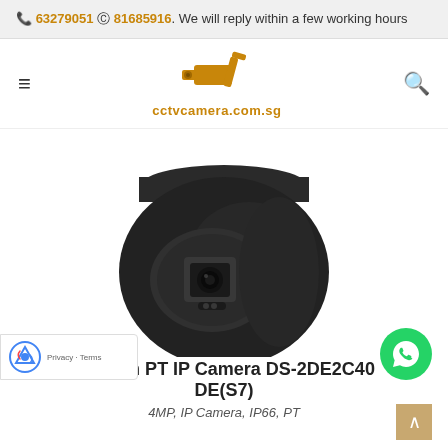📞 63279051 © 81685916. We will reply within a few working hours
[Figure (logo): CCTV camera logo with gold/brown camera icon and text cctvcamera.com.sg]
[Figure (photo): Black Hikvision PT IP Camera DS-2DE2C400 DE(S7) product photo on white background]
Hikvision PT IP Camera DS-2DE2C400 DE(S7)
4MP, IP Camera, IP66, PT